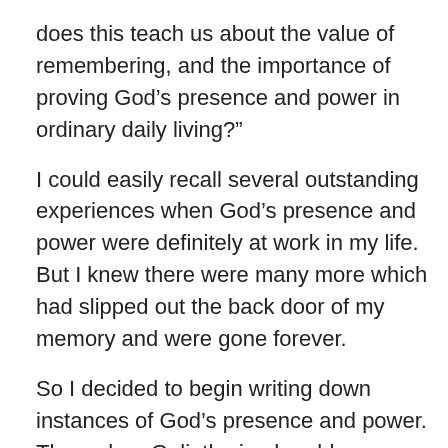does this teach us about the value of remembering, and the importance of proving God’s presence and power in ordinary daily living?”
I could easily recall several outstanding experiences when God’s presence and power were definitely at work in my life. But I knew there were many more which had slipped out the back door of my memory and were gone forever.
So I decided to begin writing down instances of God’s presence and power. Then when Goliath-sized problems arose in my life, I could review those entries and build up my faith.
The first incident occurred that very afternoon. I locked myself out of the house as Jeremy, our youngest, and I left to pick up his older brother and sister from school. My